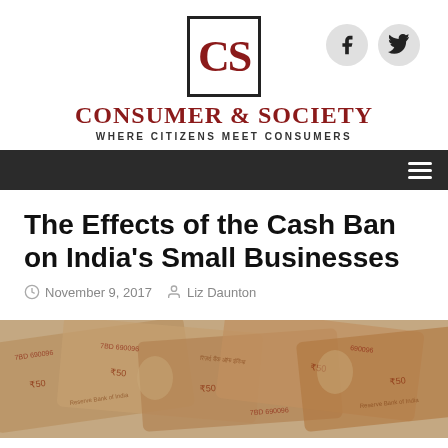[Figure (logo): Consumer & Society logo with CS initials in red serif font inside a black bordered box]
CONSUMER & SOCIETY
WHERE CITIZENS MEET CONSUMERS
Navigation bar with hamburger menu icon
The Effects of the Cash Ban on India's Small Businesses
November 9, 2017   Liz Daunton
[Figure (photo): Pile of Indian 50 rupee banknotes featuring Reserve Bank of India markings and Gandhi portrait]